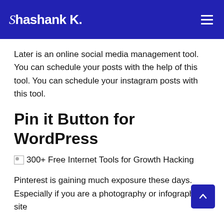Shashank K.
Later is an online social media management tool. You can schedule your posts with the help of this tool. You can schedule your instagram posts with this tool.
Pin it Button for WordPress
[Figure (other): Broken image icon followed by text: 300+ Free Internet Tools for Growth Hacking]
Pinterest is gaining much exposure these days. Especially if you are a photography or infographics site